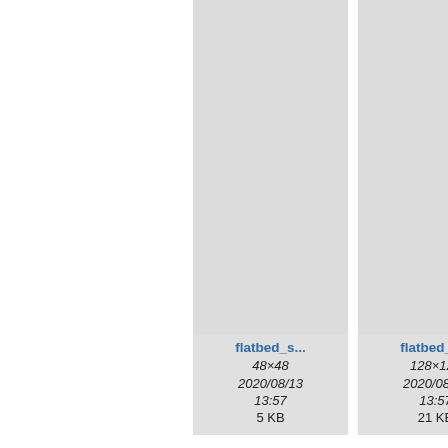[Figure (screenshot): File browser grid view showing image file thumbnails. Row 1: flatbed_s... 48x48 2020/08/13 13:57 5 KB; flatbed_s... 128x128 2020/08/13 13:57 21 KB; fla... (partially visible). Row 2: floppy_di... 16x16 2020/08/13 13:57 1 KB; floppy_di... 24x24 2020/08/13 13:57 1.6 KB; flo... (partially visible). Row 3: two partial cards at bottom.]